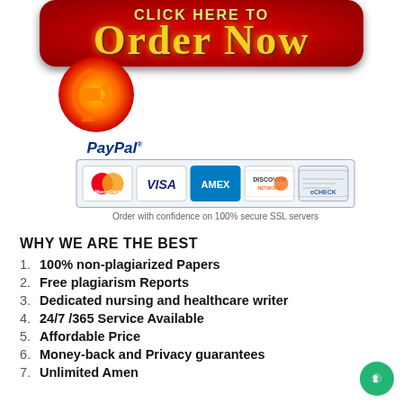[Figure (illustration): Red rounded button with yellow gradient text 'CLICK HERE TO ORDER NOW' and a flame/arrow graphic, with PayPal payment icons (MasterCard, Visa, AMEX, Discover, eCheck) and SSL security text below]
WHY WE ARE THE BEST
1. 100% non-plagiarized Papers
2. Free plagiarism Reports
3. Dedicated nursing and healthcare writer
4. 24/7 /365 Service Available
5. Affordable Price
6. Money-back and Privacy guarantees
7. Unlimited Amendments upon request